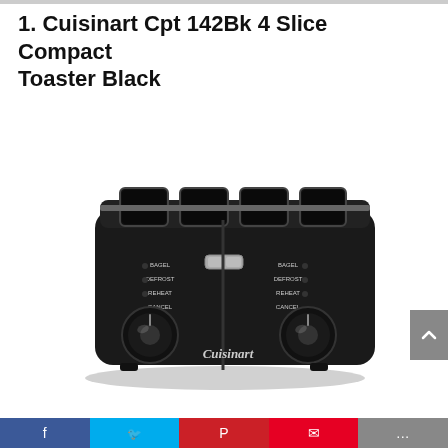1. Cuisinart Cpt 142Bk 4 Slice Compact Toaster Black
[Figure (photo): Product photo of a Cuisinart CPT-142BK 4-slice compact toaster in black finish, showing four toast slots on top, two control knobs, function buttons (BAGEL, DEFROST, REHEAT, CANCEL) on both sides, and Cuisinart branding on the front.]
Social media share bar with icons for Facebook, Twitter, Pinterest, and other platforms